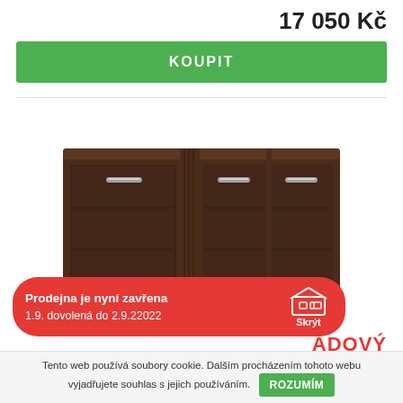17 050 Kč
KOUPIT
[Figure (photo): Dark brown wooden sideboard/dresser with two doors on the left side and three drawers on the right side, with metal handles, on a white background.]
Prodejna je nyní zavřena
1.9. dovolená do 2.9.22022
ÁDOVÝ
Původně: 21 590 Kč
Tento web používá soubory cookie. Dalším procházením tohoto webu vyjadřujete souhlas s jejich používáním. ROZUMÍM